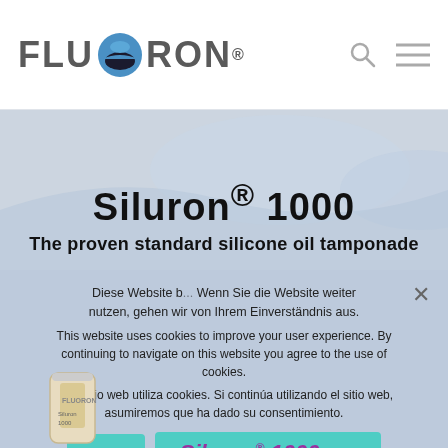[Figure (logo): FLUORON company logo with circular blue/dark globe icon between FLU and RON text, with registered trademark symbol]
[Figure (illustration): Blue-grey wave/hero background with decorative curved shapes]
Siluron® 1000
The proven standard silicone oil tamponade
Diese Website b... Wenn Sie die Website weiter nutzen, gehen wir von Ihrem Einverständnis aus.
This website uses cookies to improve your user experience. By continuing to navigate on this website you agree to the use of cookies.
Este sitio web utiliza cookies. Si continúa utilizando el sitio web, asumiremos que ha dado su consentimiento.
[Figure (photo): Siluron 1000 product vial/bottle partially visible at bottom left]